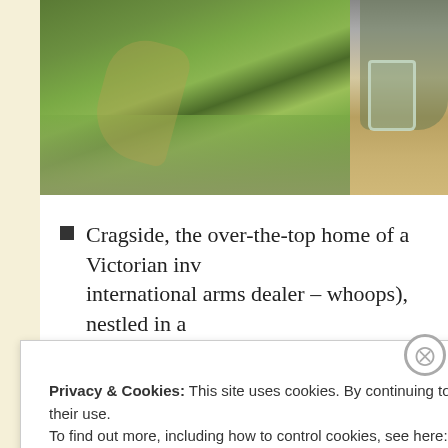[Figure (photo): Photo of a grassy hillside with green slopes and a path, cropped on the left side of the image row]
[Figure (photo): Partial photo on the right showing a hand holding a glass with a plant/herb, on a table surface]
Cragside, the over-the-top home of a Victorian inv... international arms dealer – whoops), nestled in a... rhododendrons.
Privacy & Cookies: This site uses cookies. By continuing to use this website, you agree to their use.
To find out more, including how to control cookies, see here: Cookie Policy
Close and accept